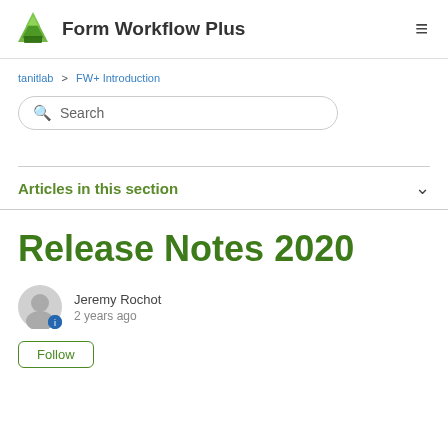Form Workflow Plus
tanitlab > FW+ Introduction
Search
Articles in this section
Release Notes 2020
Jeremy Rochot
2 years ago
Follow